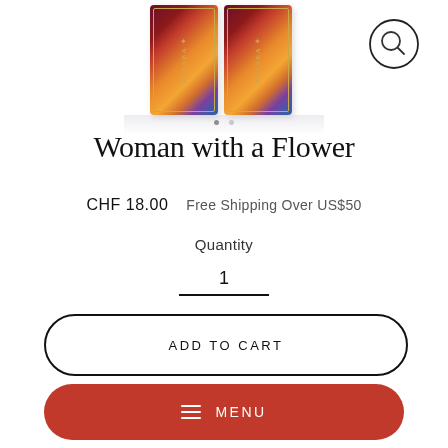[Figure (photo): Two ZEESEA product boxes with colorful artwork (Woman with a Flower design) displayed side by side with a magnifying glass icon in top right corner]
Woman with a Flower
CHF 18.00   Free Shipping Over US$50
Quantity
1
ADD TO CART
MENU